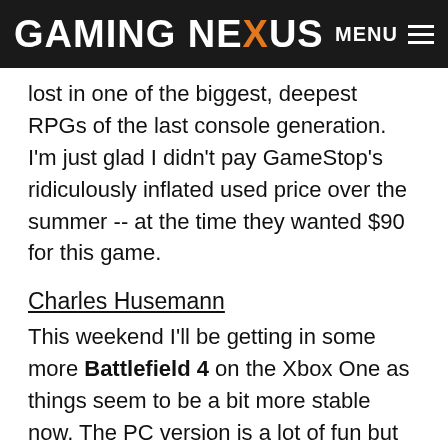GAMING NEXUS | MENU
lost in one of the biggest, deepest RPGs of the last console generation. I'm just glad I didn't pay GameStop's ridiculously inflated used price over the summer -- at the time they wanted $90 for this game.
Charles Husemann
This weekend I'll be getting in some more Battlefield 4 on the Xbox One as things seem to be a bit more stable now. The PC version is a lot of fun but I'm kind of digging some of the features of the Xbox One version. I'm not sure that anyone who isn't single and living by themselves will be able to use the voice commands but it is kind of fun to yell, "I need ammo!" at the TV and have the game recognize it. It doesn't save you much time from pulling up the communication rose but it is a lot of fun. I'm also going to try and get in some time with the multiplayer portion of